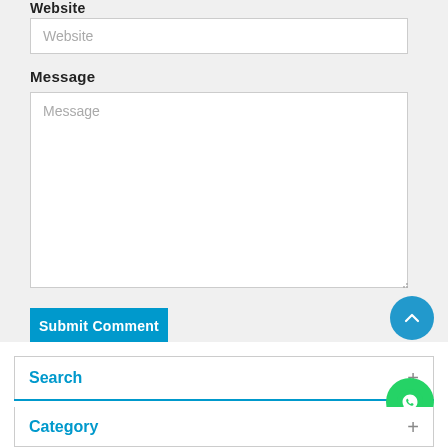Website
Website
Message
Message
Submit Comment
Search
Category